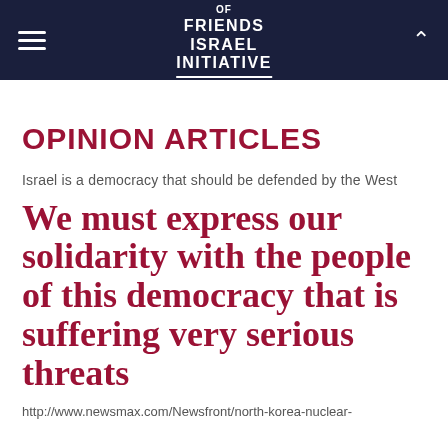Friends of Israel Initiative
OPINION ARTICLES
Israel is a democracy that should be defended by the West
We must express our solidarity with the people of this democracy that is suffering very serious threats
http://www.newsmax.com/Newsfront/north-korea-nuclear-